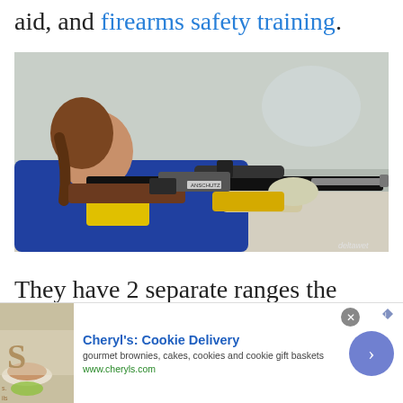aid, and firearms safety training.
[Figure (photo): A young woman in a blue jacket with yellow accents lying prone and aiming a competition rifle with scope and accessories in an indoor shooting range setting.]
They have 2 separate ranges the
...ranges and the...
Cheryl's: Cookie Delivery
gourmet brownies, cakes, cookies and cookie gift baskets
www.cheryls.com